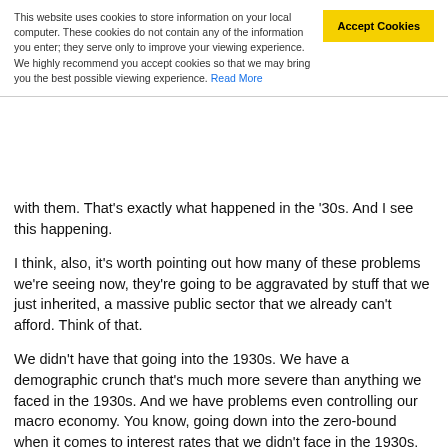This website uses cookies to store information on your local computer. These cookies do not contain any of the information you enter; they serve only to improve your viewing experience. We highly recommend you accept cookies so that we may bring you the best possible viewing experience. Read More
with them. That's exactly what happened in the '30s. And I see this happening.
I think, also, it's worth pointing out how many of these problems we're seeing now, they're going to be aggravated by stuff that we just inherited, a massive public sector that we already can't afford. Think of that.
We didn't have that going into the 1930s. We have a demographic crunch that's much more severe than anything we faced in the 1930s. And we have problems even controlling our macro economy. You know, going down into the zero-bound when it comes to interest rates that we didn't face in the 1930s.
We have some big baggage that we've inherited that actually in some ways makes our problem wo... unfunded liabilities alone... I'm talking about the form... the informal debt...